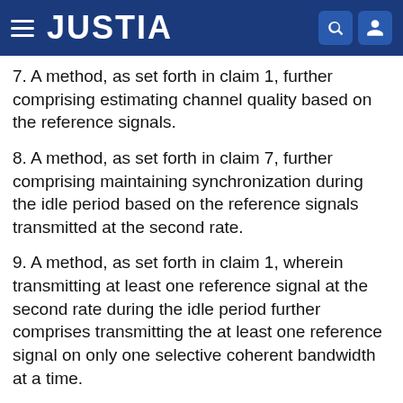JUSTIA
7. A method, as set forth in claim 1, further comprising estimating channel quality based on the reference signals.
8. A method, as set forth in claim 7, further comprising maintaining synchronization during the idle period based on the reference signals transmitted at the second rate.
9. A method, as set forth in claim 1, wherein transmitting at least one reference signal at the second rate during the idle period further comprises transmitting the at least one reference signal on only one selective coherent bandwidth at a time.
10. A method, as set forth in claim 1, wherein transmitting at least one reference signal at the second rate during the idle period further comprises